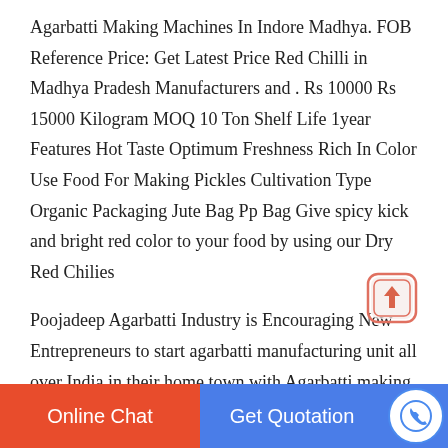Agarbatti Making Machines In Indore Madhya. FOB Reference Price: Get Latest Price Red Chilli in Madhya Pradesh Manufacturers and . Rs 10000 Rs 15000 Kilogram MOQ 10 Ton Shelf Life 1year Features Hot Taste Optimum Freshness Rich In Color Use Food For Making Pickles Cultivation Type Organic Packaging Jute Bag Pp Bag Give spicy kick and bright red color to your food by using our Dry Red Chilies
Poojadeep Agarbatti Industry is Encouraging New Entrepreneurs to start agarbatti manufacturing unit all over India in their home town with Agarbatti making training, Technology, purchasing finished goods through signing buyback agreement, if the distance is far away, it refers the entrepreneurs from their nearby
Online Chat   Get Quotation